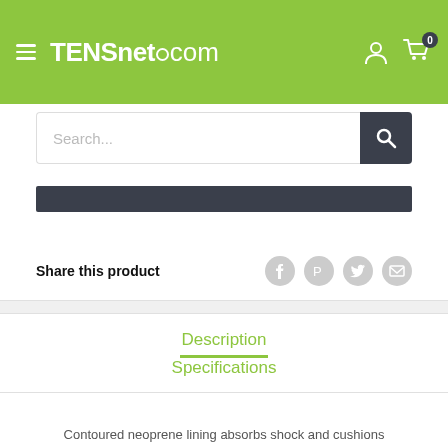TENSnet.com
Search...
Share this product
Description
Specifications
Contoured neoprene lining absorbs shock and cushions